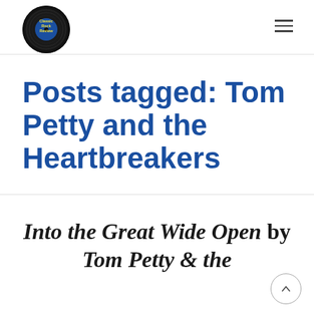Classic Rock Review
Posts tagged: Tom Petty and the Heartbreakers
Into the Great Wide Open by Tom Petty & the